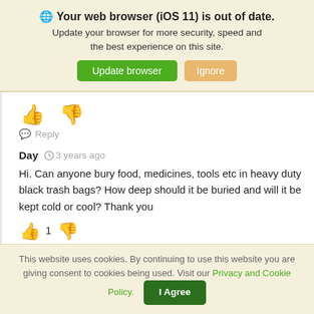🌐 Your web browser (iOS 11) is out of date. Update your browser for more security, speed and the best experience on this site. [Update browser] [Ignore]
[Figure (screenshot): Thumbs up and thumbs down icons in green]
💬 Reply
Day  🕐 3 years ago
Hi. Can anyone bury food, medicines, tools etc in heavy duty black trash bags? How deep should it be buried and will it be kept cold or cool? Thank you
[Figure (screenshot): Thumbs up icon with count 1 and thumbs down icon]
This website uses cookies. By continuing to use this website you are giving consent to cookies being used. Visit our Privacy and Cookie Policy. [I Agree]